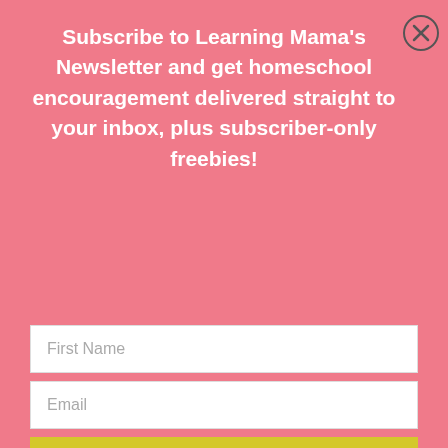Subscribe to Learning Mama's Newsletter and get homeschool encouragement delivered straight to your inbox, plus subscriber-only freebies!
[Figure (other): Close (X) button circle in top right of modal overlay]
First Name
Email
Sign me up!
Thank you for your review. I actually have this book on my shelf (also borrowed!) and have not started using it. This is mostly because we are happy with our circle time routine right now, but I think this might be helpful to start to build some good habits. Right now